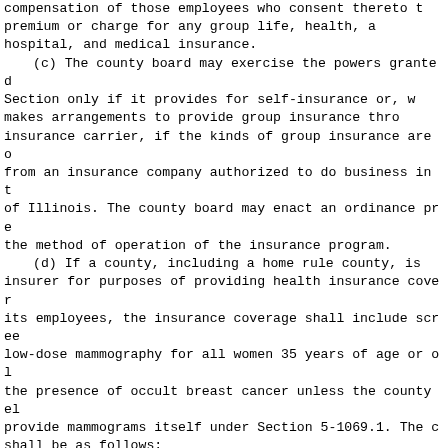compensation of those employees who consent thereto the premium or charge for any group life, health, accident, hospital, and medical insurance.
    (c) The county board may exercise the powers granted in this Section only if it provides for self-insurance or, where it makes arrangements to provide group insurance through an insurance carrier, if the kinds of group insurance are obtained from an insurance company authorized to do business in the State of Illinois. The county board may enact an ordinance prescribing the method of operation of the insurance program.
    (d) If a county, including a home rule county, is a self-insurer for purposes of providing health insurance coverage for its employees, the insurance coverage shall include screening by low-dose mammography for all women 35 years of age or older for the presence of occult breast cancer unless the county elects to provide mammograms itself under Section 5-1069.1. The coverage shall be as follows:
        (1) A baseline mammogram for women 35 to 39 years of age.
        (2) An annual mammogram for women 40 years of age or older.
        (3) A mammogram at the age and intervals considered medically necessary by the woman's health care provider for women under 40 years of age and having a family history of breast cancer, prior personal history of breast cancer, positive genetic testing, or other risk factors.
        (4) For a group policy of accident and health insurance that is amended, delivered, issued, or renewed on or after the effective date of this amendatory Act of the 101st General Assembly, a comprehensive ultrasound screening